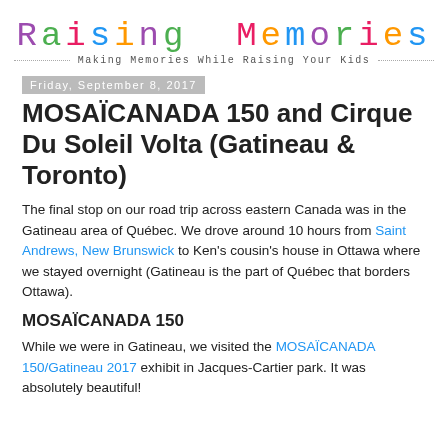Raising Memories — Making Memories While Raising Your Kids
Friday, September 8, 2017
MOSAÏCANADA 150 and Cirque Du Soleil Volta (Gatineau & Toronto)
The final stop on our road trip across eastern Canada was in the Gatineau area of Québec. We drove around 10 hours from Saint Andrews, New Brunswick to Ken's cousin's house in Ottawa where we stayed overnight (Gatineau is the part of Québec that borders Ottawa).
MOSAÏCANADA 150
While we were in Gatineau, we visited the MOSAÏCANADA 150/Gatineau 2017 exhibit in Jacques-Cartier park. It was absolutely beautiful!